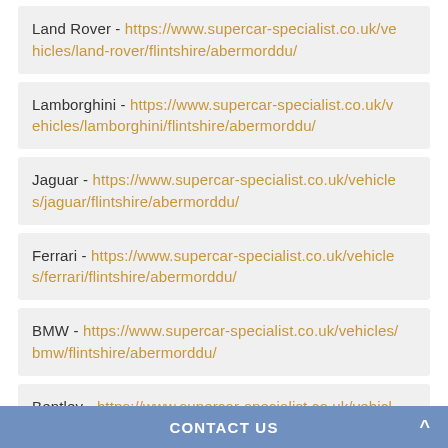Land Rover - https://www.supercar-specialist.co.uk/vehicles/land-rover/flintshire/abermorddu/
Lamborghini - https://www.supercar-specialist.co.uk/vehicles/lamborghini/flintshire/abermorddu/
Jaguar - https://www.supercar-specialist.co.uk/vehicles/jaguar/flintshire/abermorddu/
Ferrari - https://www.supercar-specialist.co.uk/vehicles/ferrari/flintshire/abermorddu/
BMW - https://www.supercar-specialist.co.uk/vehicles/bmw/flintshire/abermorddu/
Bentley - https://www.supercar-specialist.co.uk/vehicles/bentley/flintshire/abermorddu/
CONTACT US